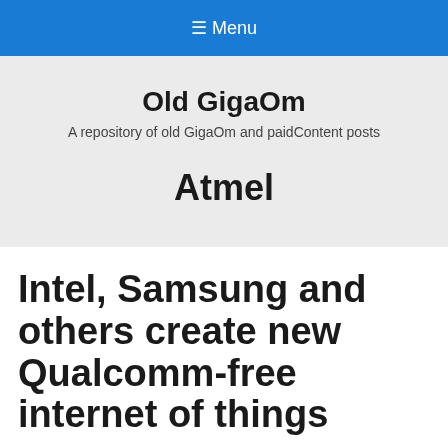☰ Menu
Old GigaOm
A repository of old GigaOm and paidContent posts
Atmel
Intel, Samsung and others create new Qualcomm-free internet of things